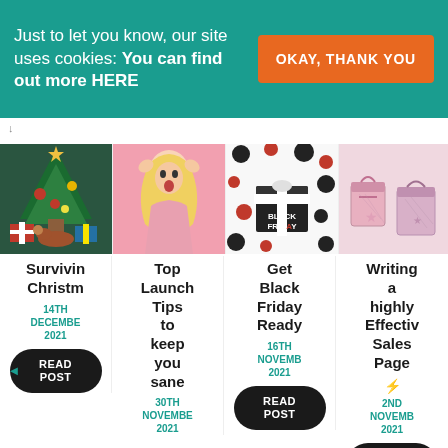Just to let you know, our site uses cookies: You can find out more HERE
OKAY, THANK YOU
[Figure (photo): Christmas scene with dog and presents under tree]
Survivin Christm
14TH DECEMBER 2021
READ POST
[Figure (photo): Surprised blonde woman on pink background]
Top Launch Tips to keep you sane
30TH NOVEMBER 2021
[Figure (photo): Black Friday gift with polka dots]
Get Black Friday Ready
16TH NOVEMBER 2021
READ POST
[Figure (photo): Pink gift boxes illustration]
Writing a highly Effectiv Sales Page
2ND NOVEMBER 2021